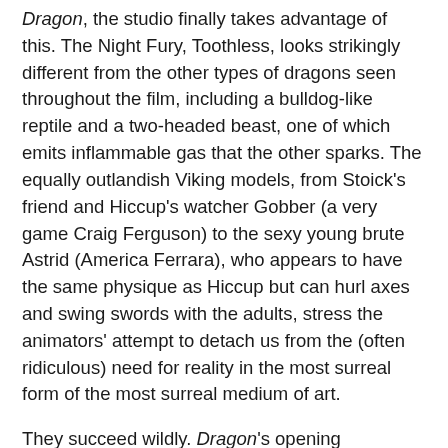Dragon, the studio finally takes advantage of this. The Night Fury, Toothless, looks strikingly different from the other types of dragons seen throughout the film, including a bulldog-like reptile and a two-headed beast, one of which emits inflammable gas that the other sparks. The equally outlandish Viking models, from Stoick's friend and Hiccup's watcher Gobber (a very game Craig Ferguson) to the sexy young brute Astrid (America Ferrara), who appears to have the same physique as Hiccup but can hurl axes and swing swords with the adults, stress the animators' attempt to detach us from the (often ridiculous) need for reality in the most surreal form of the most surreal medium of art.
They succeed wildly. Dragon's opening sequence is one of the most dynamic action pieces to grace a modern animated picture, so visceral that directors Chris Sanders and Dennis DeBois structure one shot in such a way that it appears as if a handheld camera was documenting the action. They also give enchantingly anthropomorphic traits to Toothless without losing his sleek, beautiful form (memorably, the animator turn his reptilian slits into heart-melting doe eyes). With this film, Dreamworks breaks wholly from the lame pop culture